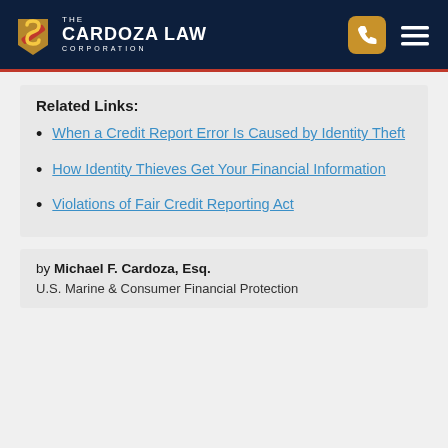[Figure (logo): The Cardoza Law Corporation logo with stylized S icon in gold and red, white text on dark navy header background, with phone and hamburger menu icons]
Related Links:
When a Credit Report Error Is Caused by Identity Theft
How Identity Thieves Get Your Financial Information
Violations of Fair Credit Reporting Act
by Michael F. Cardoza, Esq. U.S. Marine & Consumer Financial Protection